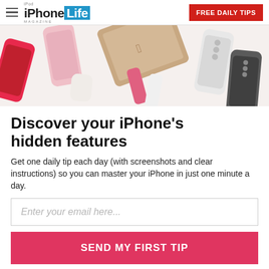iPhone Life Magazine — FREE DAILY TIPS
[Figure (photo): Flat-lay photo of various Apple devices and accessories including iPhones, iPads, Apple Watch bands, and cases in pink, white, gold, and dark colors on a white background.]
Discover your iPhone's hidden features
Get one daily tip each day (with screenshots and clear instructions) so you can master your iPhone in just one minute a day.
Enter your email here...
SEND MY FIRST TIP